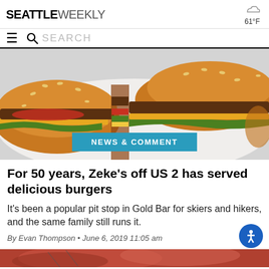SEATTLE WEEKLY   61°F
SEARCH
[Figure (photo): Close-up photo of a burger cut in half on a white plate, showing sesame seed bun, beef patty, tomato, lettuce, and cheese. News & Comment tag overlay at bottom.]
For 50 years, Zeke's off US 2 has served delicious burgers
It's been a popular pit stop in Gold Bar for skiers and hikers, and the same family still runs it.
By Evan Thompson • June 6, 2019 11:05 am
[Figure (photo): Partial bottom image showing grilled meat, likely a burger or steak.]